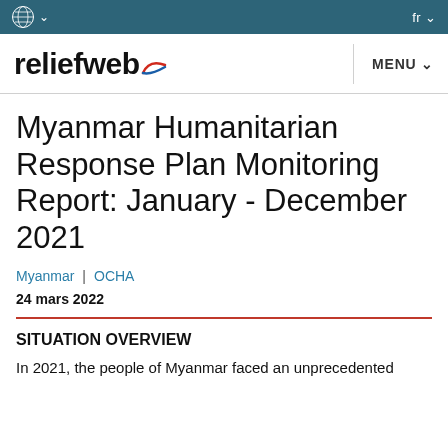reliefweb — MENU
Myanmar Humanitarian Response Plan Monitoring Report: January - December 2021
Myanmar | OCHA
24 mars 2022
SITUATION OVERVIEW
In 2021, the people of Myanmar faced an unprecedented